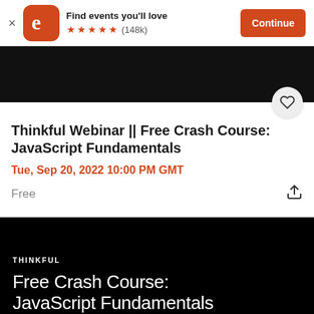[Figure (screenshot): Eventbrite app banner with orange logo, 5-star rating (148k reviews), Find events you'll love text, and Continue button]
[Figure (photo): Black hero banner image with heart/save circle button in bottom right]
Thinkful Webinar || Free Crash Course: JavaScript Fundamentals
Tue, Sep 20, 2022 10:00 PM GMT
Free
[Figure (screenshot): Black promotional banner with THINKFUL label and text: Free Crash Course: JavaScript Fundamentals]